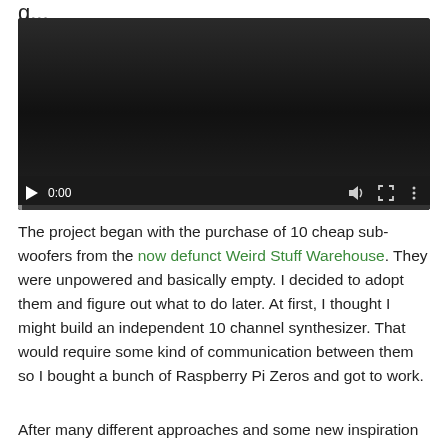g...
[Figure (screenshot): Embedded video player showing a dark/black video frame with playback controls (play button, 0:00 timestamp, volume icon, fullscreen icon, more options icon) and a progress bar at the bottom.]
The project began with the purchase of 10 cheap sub-woofers from the now defunct Weird Stuff Warehouse. They were unpowered and basically empty. I decided to adopt them and figure out what to do later. At first, I thought I might build an independent 10 channel synthesizer. That would require some kind of communication between them so I bought a bunch of Raspberry Pi Zeros and got to work.
After many different approaches and some new inspiration from